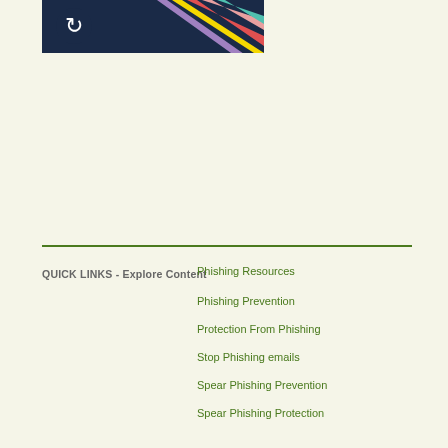[Figure (logo): Dark navy blue banner/logo with a white circular icon and colorful diagonal stripes (yellow, red, pink, purple, teal) on the right side]
QUICK LINKS - Explore Content
Phishing Resources
Phishing Prevention
Protection From Phishing
Stop Phishing emails
Spear Phishing Prevention
Spear Phishing Protection